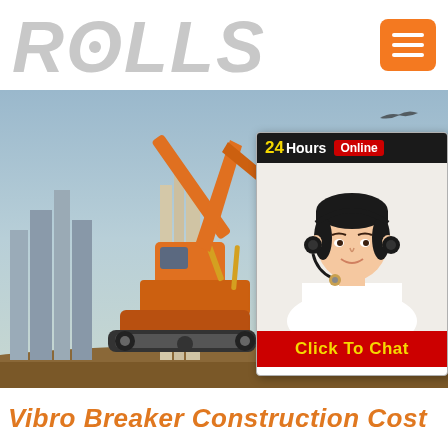ROLLS
[Figure (screenshot): Website screenshot showing ROLLS logo header with orange hamburger menu button, large construction excavator image with city skyline background, and a 24 Hours Online chat overlay with a female customer service representative, plus a Click To Chat button]
Vibro Breaker Construction Cost